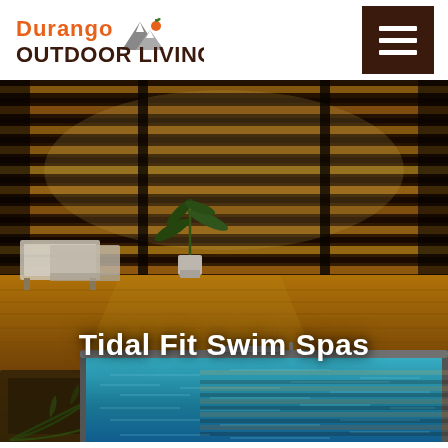[Figure (logo): Durango Outdoor Living logo with orange mountain graphic and brand name]
[Figure (other): Hamburger menu icon button (dark brown background with three white horizontal lines)]
[Figure (photo): Hero photo of an indoor swim spa with blue water, wooden deck flooring, lounge furniture, floor-to-ceiling slatted wooden blinds, and a potted palm plant. Warm ambient lighting.]
Tidal Fit Swim Spas